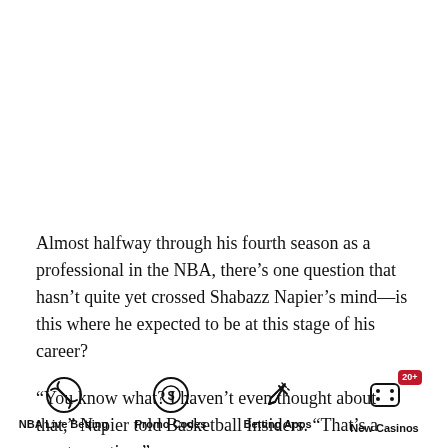Almost halfway through his fourth season as a professional in the NBA, there’s one question that hasn’t quite yet crossed Shabazz Napier’s mind—is this where he expected to be at this stage of his career?
“You know what? I haven’t even thought about that,” Napier told Basketball Insiders. “That’s a great question.”
[Figure (infographic): Navigation bar with four icons: NBA Live Betting (basketball icon), Promo Codes (dollar coin icon), Betting Apps (rocket icon), New Casinos (dice icon with 20+ badge)]